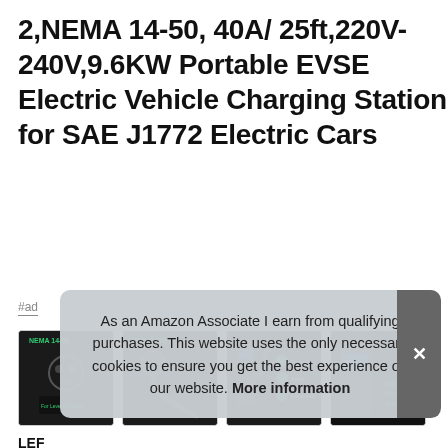2,NEMA 14-50, 40A/ 25ft,220V-240V,9.6KW Portable EVSE Electric Vehicle Charging Station for SAE J1772 Electric Cars
#ad
[Figure (photo): Four product thumbnail images of an EV charging station showing NEMA 14-50 plug, SAE J1772 connector with cable, portable charger unit with features, and LCD screen unit]
As an Amazon Associate I earn from qualifying purchases. This website uses the only necessary cookies to ensure you get the best experience on our website. More information
LEF...